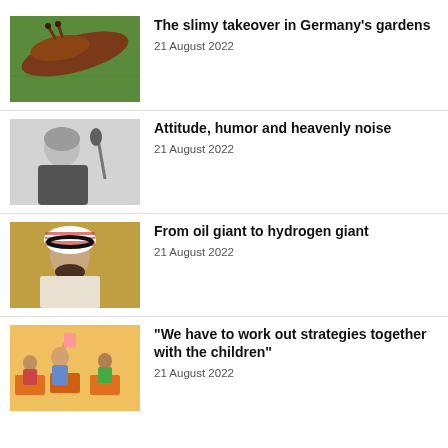[Figure (photo): Close-up of a slug on a green plant surface]
The slimy takeover in Germany's gardens
21 August 2022
[Figure (photo): Man in black shirt leaning over a microphone]
Attitude, humor and heavenly noise
21 August 2022
[Figure (photo): Man wearing traditional Saudi headdress in a formal setting]
From oil giant to hydrogen giant
21 August 2022
[Figure (photo): Children in a classroom, one holding up a paper]
“We have to work out strategies together with the children”
21 August 2022